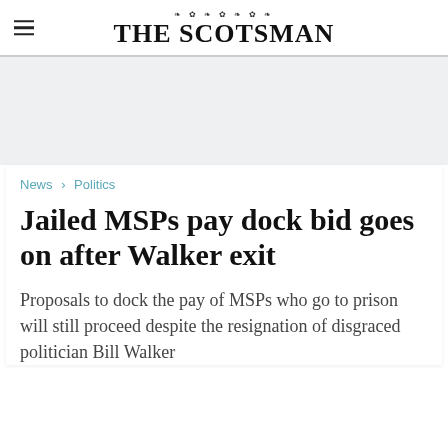THE SCOTSMAN
News > Politics
Jailed MSPs pay dock bid goes on after Walker exit
Proposals to dock the pay of MSPs who go to prison will still proceed despite the resignation of disgraced politician Bill Walker